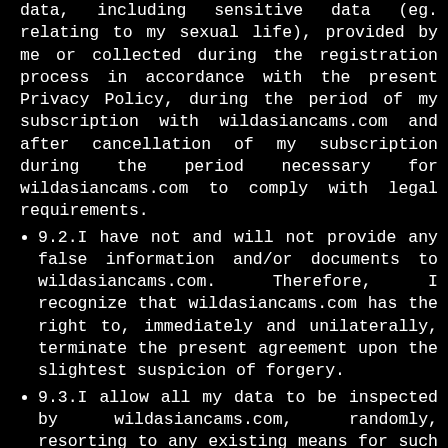data, including sensitive data (eg. relating to my sexual life), provided by me or collected during the registration process in accordance with the present Privacy Policy, during the period of my subscription with wildasiancams.com and after cancellation of my subscription during the period necessary for wildasiancams.com to comply with legal requirements.
9.2.I have not and will not provide any false information and/or documents to wildasiancams.com. Therefore, I recognize that wildasiancams.com has the right to, immediately and unilaterally, terminate the present agreement upon the slightest suspicion of forgery.
9.3.I allow all my data to be inspected by wildasiancams.com, randomly, resorting to any existing means for such effect. Notwithstanding, I am aware that it is not their duty to proceed with such inspection and said entities will not be considered responsible, either jointly or severally, in case of my unlawful conduct.
9.4.I agree and authorize wildasiancams.com to obtain and store information automatically from my computer used to visit wildasiancams.com website (with use of cookies and similar technologies) wildasiancams.com to store the